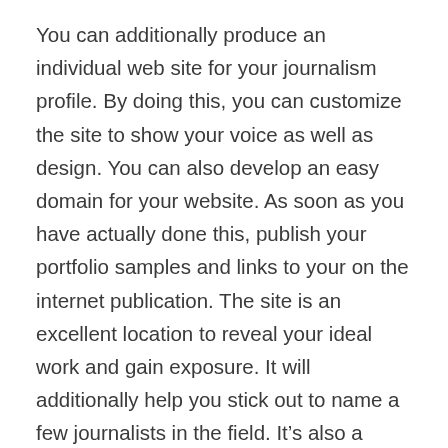You can additionally produce an individual web site for your journalism profile. By doing this, you can customize the site to show your voice as well as design. You can also develop an easy domain for your website. As soon as you have actually done this, publish your portfolio samples and links to your on the internet publication. The site is an excellent location to reveal your ideal work and gain exposure. It will additionally help you stick out to name a few journalists in the field. It’s also a good way to get your write-ups published.
While journalists should not concentrate on specific publications, it is necessary to show that you have a remarkable variety of media electrical outlets and